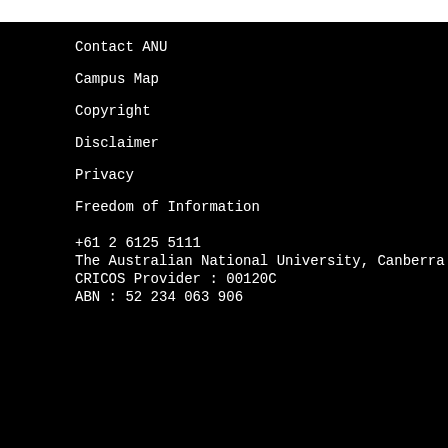Contact ANU
Campus Map
Copyright
Disclaimer
Privacy
Freedom of Information
+61 2 6125 5111
The Australian National University, Canberra
CRICOS Provider : 00120C
ABN : 52 234 063 906